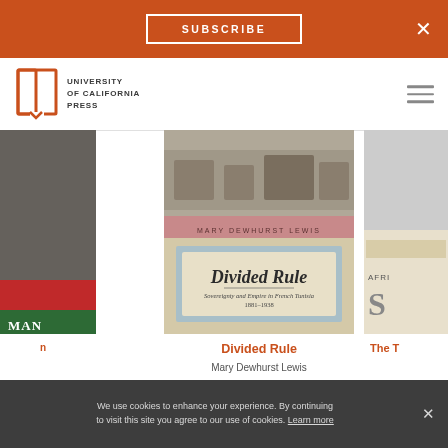SUBSCRIBE
[Figure (logo): University of California Press logo with open book icon and text: UNIVERSITY of CALIFORNIA PRESS]
[Figure (photo): Left book cover partially visible, red and green background]
[Figure (photo): Center book cover: 'Divided Rule - Sovereignty and Empire in French Tunisia 1881-1938' by Mary Dewhurst Lewis]
[Figure (photo): Right book cover partially visible, cream colored]
Divided Rule
Mary Dewhurst Lewis
The T
We use cookies to enhance your experience. By continuing to visit this site you agree to our use of cookies. Learn more